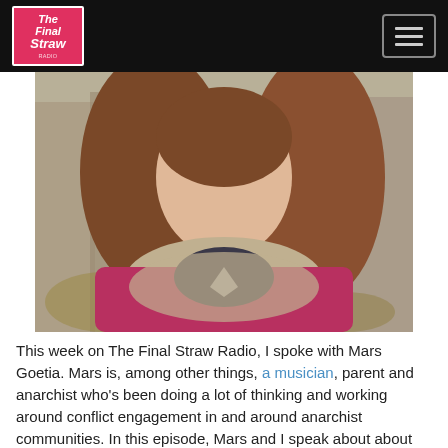The Final Straw
[Figure (photo): Photo of Mars Goetia, a person with long brown hair wearing a magenta/red jacket and grey scarf, photographed outdoors in front of a wooden fence.]
This week on The Final Straw Radio, I spoke with Mars Goetia. Mars is, among other things, a musician, parent and anarchist who's been doing a lot of thinking and working around conflict engagement in and around anarchist communities. In this episode, Mars and I speak about about the difficulty of language when engaging in interpersonal conflict, about state repression, expectations and more.
Announces:
In June we aired 2 conversations with members of the Turkish group DAF, Revolutionary Anarchist Action. Among the three voices featured was that of Hüseyin Civan, the managing